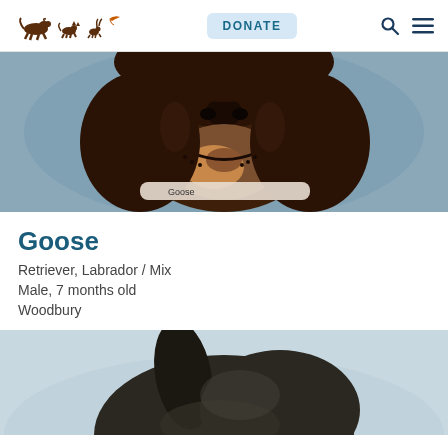animal humane society — DONATE
[Figure (photo): Close-up photo of a brown Labrador mix dog named Goose, looking at the camera from above, wearing a collar with 'Goose' written on it, against a blue-gray background.]
Goose
Retriever, Labrador / Mix
Male, 7 months old
Woodbury
[Figure (photo): Partial photo of another dark-colored dog, showing the top of the head and ear, against a light gray background.]